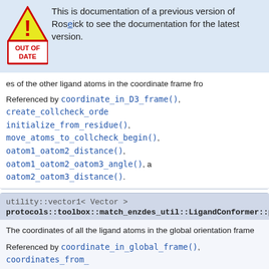This is documentation of a previous version of Rosetta. Click to see the documentation for the latest version.
es of the other ligand atoms in the coordinate frame fro
Referenced by coordinate_in_D3_frame(), create_collcheck_orde initialize_from_residue(), move_atoms_to_collcheck_begin(), oatom1_oatom2_distance(), oatom1_oatom2_oatom3_angle(), a oatom2_oatom3_distance().
utility::vector1< Vector > protocols::toolbox::match_enzdes_util::LigandConformer::point
The coordinates of all the ligand atoms in the global orientation frame
Referenced by coordinate_in_global_frame(), coordinates_from_ get_global_coords_as_FArray2D(), and initialize_from_residue().
utility::vector1< Size >